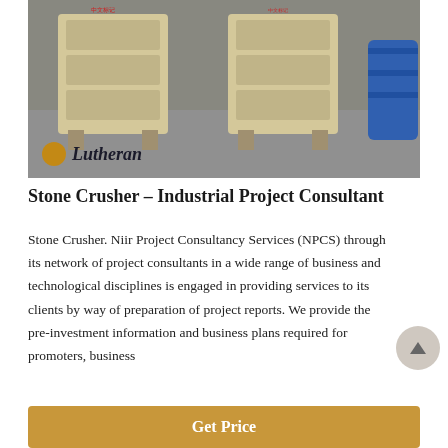[Figure (photo): Two large yellow/beige industrial stone crusher machines on a factory floor with a watermark overlay reading 'Lutheran']
Stone Crusher – Industrial Project Consultant
Stone Crusher. Niir Project Consultancy Services (NPCS) through its network of project consultants in a wide range of business and technological disciplines is engaged in providing services to its clients by way of preparation of project reports. We provide the pre-investment information and business plans required for promoters, business